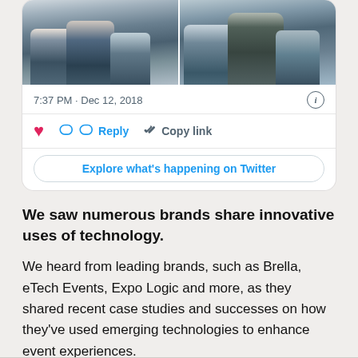[Figure (photo): Twitter card showing two side-by-side photos of audience members seated at an event, viewed from behind]
7:37 PM · Dec 12, 2018
Reply   Copy link
Explore what's happening on Twitter
We saw numerous brands share innovative uses of technology.
We heard from leading brands, such as Brella, eTech Events, Expo Logic and more, as they shared recent case studies and successes on how they've used emerging technologies to enhance event experiences.